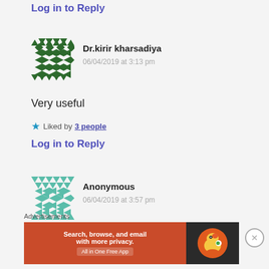Log in to Reply
Dr.kirir kharsadiya
06/04/2019 at 3:13 pm
Very useful
Liked by 3 people
Log in to Reply
Anonymous
06/04/2019 at 3:57 pm
Advertisements
Search, browse, and email with more privacy. All in One Free App